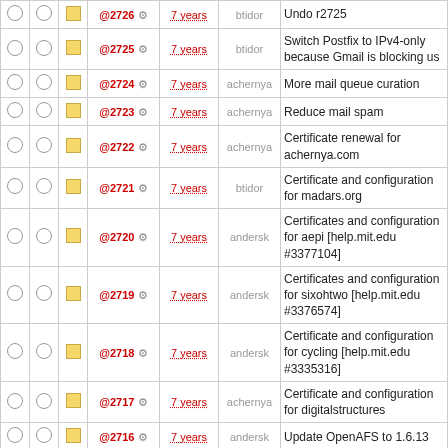|  |  |  | ID | Age | User | Description |
| --- | --- | --- | --- | --- | --- | --- |
| ○ | ○ | ■ | @2726 ⚙ | 7 years | btidor | Undo r2725 |
| ○ | ○ | ■ | @2725 ⚙ | 7 years | btidor | Switch Postfix to IPv4-only because Gmail is blocking us |
| ○ | ○ | ■ | @2724 ⚙ | 7 years | achernya | More mail queue curation |
| ○ | ○ | ■ | @2723 ⚙ | 7 years | achernya | Reduce mail spam |
| ○ | ○ | ■ | @2722 ⚙ | 7 years | achernya | Certificate renewal for achernya.com |
| ○ | ○ | ■ | @2721 ⚙ | 7 years | btidor | Certificate and configuration for madars.org |
| ○ | ○ | ■ | @2720 ⚙ | 7 years | andersk | Certificates and configuration for aepi [help.mit.edu #3377104] |
| ○ | ○ | ■ | @2719 ⚙ | 7 years | andersk | Certificates and configuration for sixohtwo [help.mit.edu #3376574] |
| ○ | ○ | ■ | @2718 ⚙ | 7 years | andersk | Certificate and configuration for cycling [help.mit.edu #3335316] |
| ○ | ○ | ■ | @2717 ⚙ | 7 years | achernya | Certificate and configuration for digitalstructures |
| ○ | ○ | ■ | @2716 ⚙ | 7 years | andersk | Update OpenAFS to 1.6.13 |
| ○ | ○ | ■ | @2715 ⚙ | 7 years | andersk | Follow Fedora 20 move to archives.fedoraproject.org |
| ○ | ○ | ■ | @2714 ⚙ | 7 years | andersk | Remove identd from directors |
| ○ | ○ | ■ | @2713 ⚙ | 7 years | andersk | Enable OCSP stapling No particular security benefit since we don't ... |
| ○ | ○ | ■ | @2712 ⚙ | 7 years | andersk | Update OpenAFS to 1.6.12 |